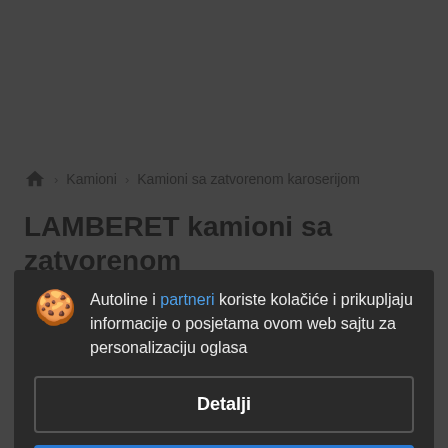Kamioni › Kamioni sa zatvorenom karoserijom
LAMBERET kamioni sa zatvorenom karoserijom
Autoline i partneri koriste kolačiće i prikupljaju informacije o posjetama ovom web sajtu za personalizaciju oglasa
Detalji
Slažem se i zatvori
LAMBERET kamioni sa zatvorenom